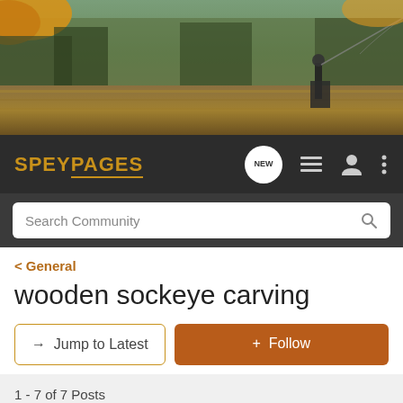[Figure (photo): Hero banner photo of a fly fisherman wading in a river with autumn foliage, casting a fly rod. Golden and orange leaves visible in foreground, forest in background.]
SPEYPAGES navigation bar with logo, NEW button, list icon, user icon, and menu dots
Search Community
< General
wooden sockeye carving
→ Jump to Latest
+ Follow
1 - 7 of 7 Posts
silvertip8k · wandering monk
Joined Dec 21, 2012 · 231 Posts